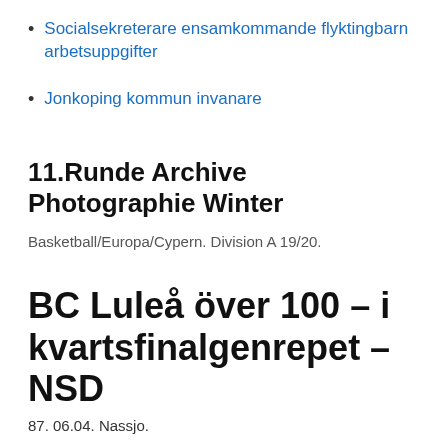Socialsekreterare ensamkommande flyktingbarn arbetsuppgifter
Jonkoping kommun invanare
11.Runde Archive Photographie Winter
Basketball/Europa/Cypern. Division A 19/20.
BC Luleå över 100 – i kvartsfinalgenrepet – NSD
87. 06.04. Nassjo.